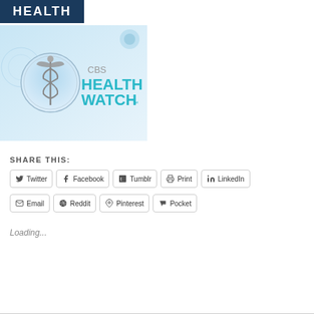[Figure (logo): Dark navy blue rectangle with white bold text 'HEALTH' — partial view of a health publication logo]
[Figure (logo): CBS Health Watch logo with caduceus medical symbol in a circular chrome frame on a light blue background, with 'CBS HEALTH WATCH™' text in teal/gray]
SHARE THIS:
Twitter | Facebook | Tumblr | Print | LinkedIn | Email | Reddit | Pinterest | Pocket
Loading...